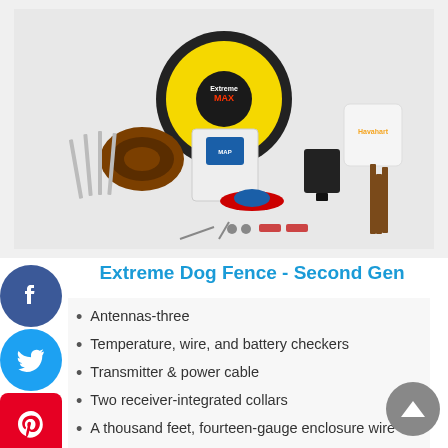[Figure (photo): Product photo of Extreme Dog Fence Second Gen kit including wire spool, transmitter, receiver collars, power adapter, wire, stakes, and accessories on white background]
Extreme Dog Fence - Second Gen
Antennas-three
Temperature, wire, and battery checkers
Transmitter & power cable
Two receiver-integrated collars
A thousand feet, fourteen-gauge enclosure wire
Two pairs of probes